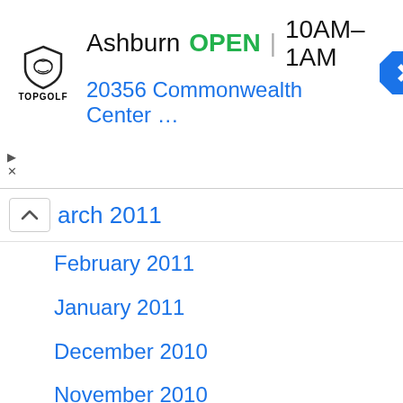[Figure (infographic): Topgolf advertisement banner showing Ashburn location, OPEN status, hours 10AM-1AM, address 20356 Commonwealth Center..., with navigation arrow icon and Topgolf logo]
arch 2011
February 2011
January 2011
December 2010
November 2010
October 2010
September 2010
August 2010
July 2010
June 2010
May 2010
April 2010